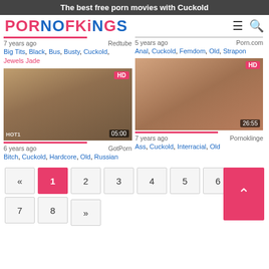The best free porn movies with Cuckold
PORNOFKINGS
7 years ago  Redtube
Big Tits, Black, Bus, Busty, Cuckold, Jewels Jade
[Figure (photo): Video thumbnail with HD badge and 05:00 duration, watermark HOT1]
6 years ago  GotPorn
Bitch, Cuckold, Hardcore, Old, Russian
5 years ago  Porn.com
Anal, Cuckold, Femdom, Old, Strapon
[Figure (photo): Video thumbnail with HD badge and 26:55 duration]
7 years ago  Pornoklinge
Ass, Cuckold, Interracial, Old
« 1 2 3 4 5 6 7 8 »